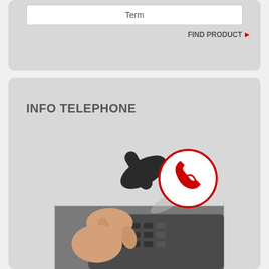Term
FIND PRODUCT ▶
INFO TELEPHONE
[Figure (photo): Photo of a hand pressing buttons on a telephone keypad, with a red telephone icon overlaid in the upper right corner of the image.]